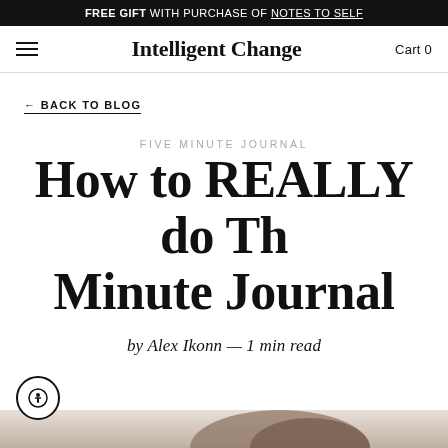FREE GIFT WITH PURCHASE OF NOTES TO SELF
Intelligent Change   Cart 0
← BACK TO BLOG
FIVE MINUTE JOURNAL
How to REALLY do The Five Minute Journal
by Alex Ikonn — 1 min read